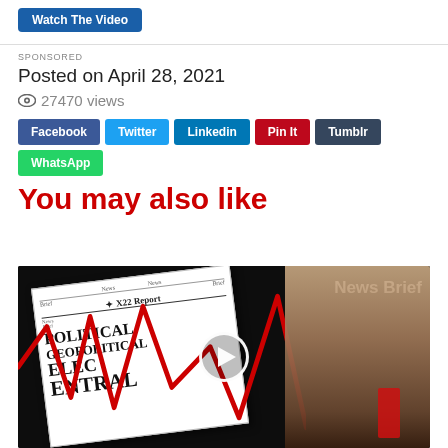[Figure (screenshot): Watch The Video button (dark blue rounded button)]
SPONSORED
Posted on April 28, 2021
27470 views
[Figure (infographic): Social share buttons: Facebook, Twitter, Linkedin, Pin It, Tumblr, WhatsApp]
You may also like
[Figure (screenshot): Thumbnail image for a video featuring an X22 Report newspaper graphic with red declining chart line, text reading POLITICAL GEOPOLITICAL ELECTORAL, News Brief label in top right, and Trump photo on right side with play button overlay in center.]